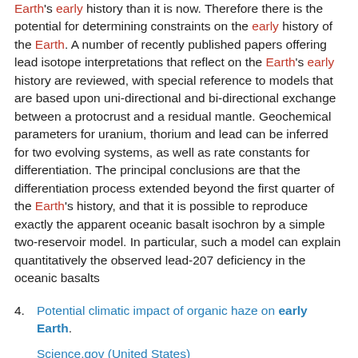Earth's early history than it is now. Therefore there is the potential for determining constraints on the early history of the Earth. A number of recently published papers offering lead isotope interpretations that reflect on the Earth's early history are reviewed, with special reference to models that are based upon uni-directional and bi-directional exchange between a protocrust and a residual mantle. Geochemical parameters for uranium, thorium and lead can be inferred for two evolving systems, as well as rate constants for differentiation. The principal conclusions are that the differentiation process extended beyond the first quarter of the Earth's history, and that it is possible to reproduce exactly the apparent oceanic basalt isochron by a simple two-reservoir model. In particular, such a model can explain quantitatively the observed lead-207 deficiency in the oceanic basalts
4. Potential climatic impact of organic haze on early Earth.

Science.gov (United States)

Hasenkopf, Christa A; Freedman, Miriam A; Beaver, Melinda R; Toon, Owen B; Tolbert, Margaret A

2011-03-01